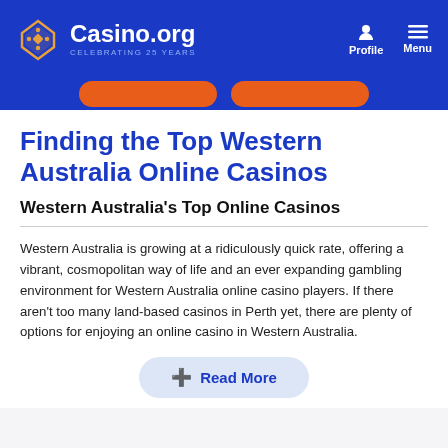Casino.org – CELEBRATING 25 YEARS
Finding the Top Western Australia Online Casinos
Western Australia's Top Online Casinos
Western Australia is growing at a ridiculously quick rate, offering a vibrant, cosmopolitan way of life and an ever expanding gambling environment for Western Australia online casino players. If there aren't too many land-based casinos in Perth yet, there are plenty of options for enjoying an online casino in Western Australia.
Read More